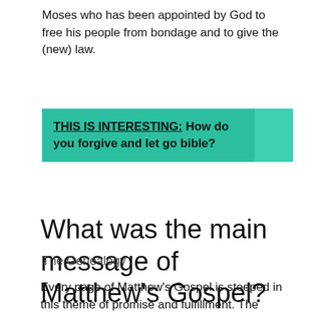Moses who has been appointed by God to free his people from bondage and to give the (new) law.
[Figure (infographic): Teal/green banner with bold text: THIS IS INTERESTING: How do you forgive and let go bible?]
What was the main message of Matthew’s Gospel?
The Genealogy
Every page of Matthew’s Gospel is steeped in this theme of promise and fulfillment. The Gospel begins with the announcement that,